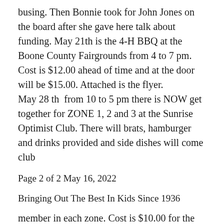busing. Then Bonnie took for John Jones on the board after she gave here talk about funding. May 21th is the 4-H BBQ at the Boone County Fairgrounds from 4 to 7 pm. Cost is $12.00 ahead of time and at the door will be $15.00. Attached is the flyer.
May 28 th  from 10 to 5 pm there is NOW get together for ZONE 1, 2 and 3 at the Sunrise Optimist Club. There will brats, hamburger and drinks provided and side dishes will come club
Page 2 of 2 May 16, 2022
Bringing Out The Best In Kids Since 1936
member in each zone. Cost is $10.00 for the food and donation to play in the cornhole